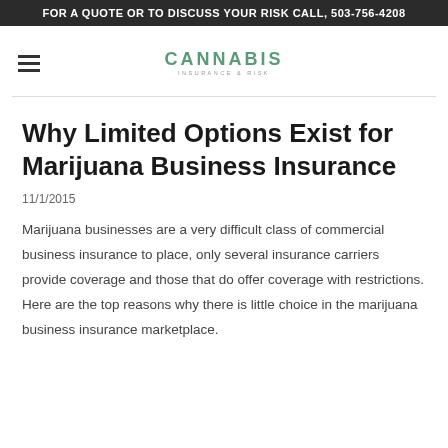FOR A QUOTE OR TO DISCUSS YOUR RISK CALL, 503-756-4208
[Figure (logo): Cannabis Insurance & Risk logo with hamburger menu icon]
Why Limited Options Exist for Marijuana Business Insurance
11/1/2015
Marijuana businesses are a very difficult class of commercial business insurance to place, only several insurance carriers provide coverage and those that do offer coverage with restrictions. Here are the top reasons why there is little choice in the marijuana business insurance marketplace.